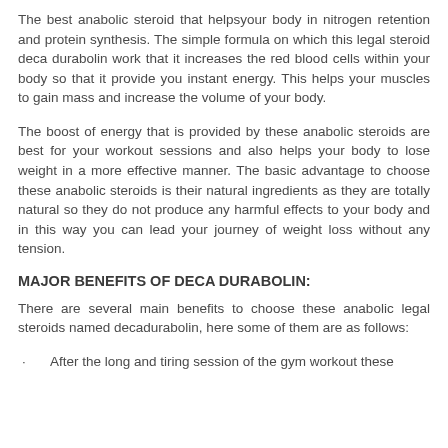The best anabolic steroid that helpsyour body in nitrogen retention and protein synthesis. The simple formula on which this legal steroid deca durabolin work that it increases the red blood cells within your body so that it provide you instant energy. This helps your muscles to gain mass and increase the volume of your body.
The boost of energy that is provided by these anabolic steroids are best for your workout sessions and also helps your body to lose weight in a more effective manner. The basic advantage to choose these anabolic steroids is their natural ingredients as they are totally natural so they do not produce any harmful effects to your body and in this way you can lead your journey of weight loss without any tension.
MAJOR BENEFITS OF DECA DURABOLIN:
There are several main benefits to choose these anabolic legal steroids named decadurabolin, here some of them are as follows:
After the long and tiring session of the gym workout these